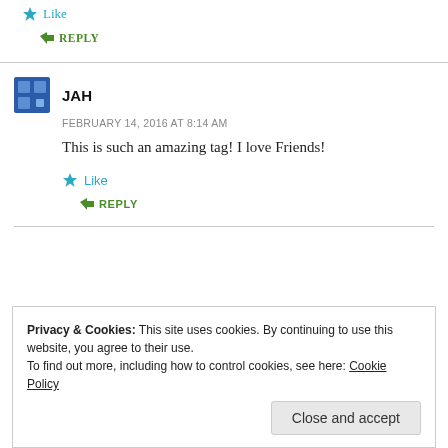Like
↳ REPLY
JAH
FEBRUARY 14, 2016 AT 8:14 AM
This is such an amazing tag! I love Friends!
Like
↳ REPLY
Privacy & Cookies: This site uses cookies. By continuing to use this website, you agree to their use.
To find out more, including how to control cookies, see here: Cookie Policy
Close and accept